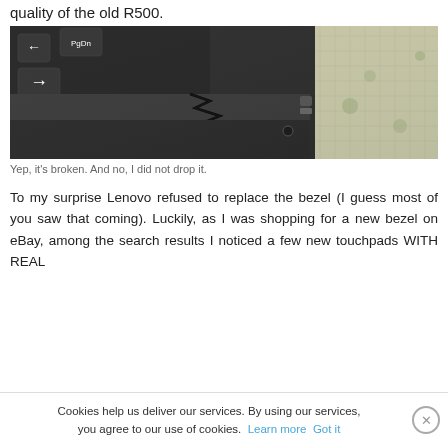quality of the old R500.
[Figure (photo): Close-up photo of a broken laptop bezel/keyboard area showing a crack between the keyboard deck and the screen bezel, with a patterned tablecloth visible on the right side.]
Yep, it's broken. And no, I did not drop it.
To my surprise Lenovo refused to replace the bezel (I guess most of you saw that coming). Luckily, as I was shopping for a new bezel on eBay, among the search results I noticed a few new touchpads WITH REAL
Cookies help us deliver our services. By using our services, you agree to our use of cookies. Learn more Got it